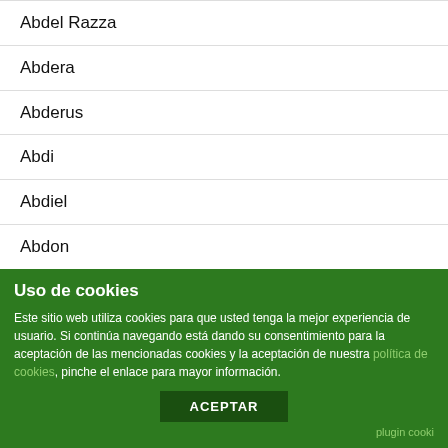Abdel Razza
Abdera
Abderus
Abdi
Abdiel
Abdon
Abdul
Abdul Aalee
Abdul Aleem
Abdul Alim
Abdul Azeem
Uso de cookies
Este sitio web utiliza cookies para que usted tenga la mejor experiencia de usuario. Si continúa navegando está dando su consentimiento para la aceptación de las mencionadas cookies y la aceptación de nuestra política de cookies, pinche el enlace para mayor información.
ACEPTAR
plugin cooki